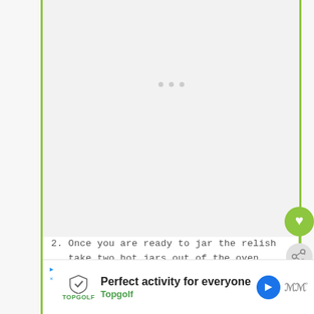[Figure (other): White/gray content loading area with three small gray dots indicating loading state]
2. Once you are ready to jar the relish take two hot jars out of the oven, fill them and top up with a bit of vinegar. Leave about 1 cm of headspace.
[Figure (other): WHAT'S NEXT overlay panel showing a thumbnail image of pickled carrots with text 'Pickled Carrots with...']
Perfect activity for everyone  Topgolf